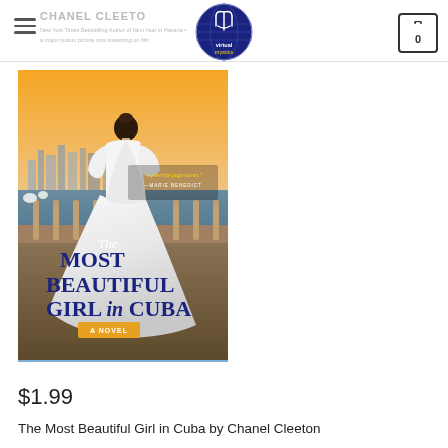Virtual Mystics — navigation header with logo and cart
[Figure (photo): Book cover of 'The Most Beautiful Girl in Cuba' by Chanel Cleeton — A novel. Shows a woman in a white Victorian dress viewed from behind, standing on a balcony overlooking a harbour at sunset. The title text reads 'The MOST BEAUTIFUL GIRL in CUBA — A NOVEL'. A quote reads 'A powerful page-turner. —Marie Benedict']
$1.99
The Most Beautiful Girl in Cuba by Chanel Cleeton